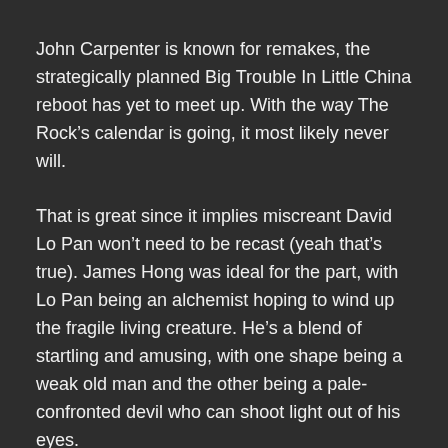John Carpenter is known for remakes, the strategically planned Big Trouble In Little China reboot has yet to meet up. With the way The Rock’s calendar is going, it most likely never will.
That is great since it implies miscreant David Lo Pan won’t need to be recast (yeah that’s true). James Hong was ideal for the part, with Lo Pan being an alchemist hoping to wind up the fragile living creature. He’s a blend of startling and amusing, with one shape being a weak old man and the other being a pale-confronted devil who can shoot light out of his eyes.
Molesar – The Keep